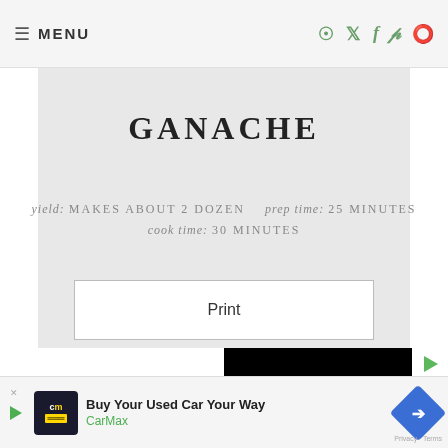≡ MENU
GANACHE
yield: MAKES ABOUT 2 DOZEN    prep time: 25 MINUTES    cook time: 30 MINUTES
Print
[Figure (photo): Screenshot of a recipe webpage for Ganache showing a partially visible computer desk photo and a black video overlay]
Buy Your Used Car Your Way  CarMax